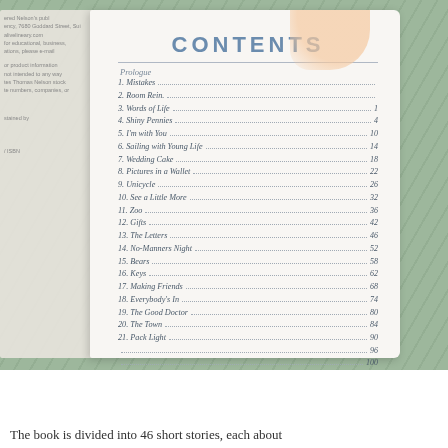[Figure (photo): A photograph of an open book showing a Table of Contents page titled CONTENTS, with chapters 1–21 listed with dotted leaders and page numbers. The left page is partially visible. A hand with painted fingernails holds the book open. The book is placed on a green textured surface.]
CONTENTS
Prologue
1. Mistakes
2. Room Rein.
3. Words of Life ..... 1
4. Shiny Pennies ..... 4
5. I'm with You ..... 10
6. Sailing with Young Life ..... 14
7. Wedding Cake ..... 18
8. Pictures in a Wallet ..... 22
9. Unicycle ..... 26
10. See a Little More ..... 32
11. Zoo ..... 36
12. Gifts ..... 42
13. The Letters ..... 46
14. No-Manners Night ..... 52
15. Bears ..... 58
16. Keys ..... 62
17. Making Friends ..... 68
18. Everybody's In ..... 74
19. The Good Doctor ..... 80
20. The Town ..... 84
21. Pack Light ..... 90
..... 96
..... 100
..... 104
The book is divided into 46 short stories, each about